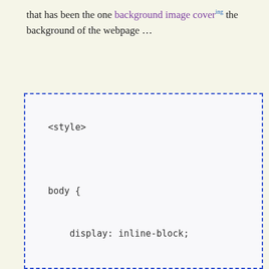that has been the one background image covering the background of the webpage …
[Figure (screenshot): A code block with dashed blue border showing CSS code: <style> tag, body { display: inline-block; font-size: 128px; line-height: 1.2; }]